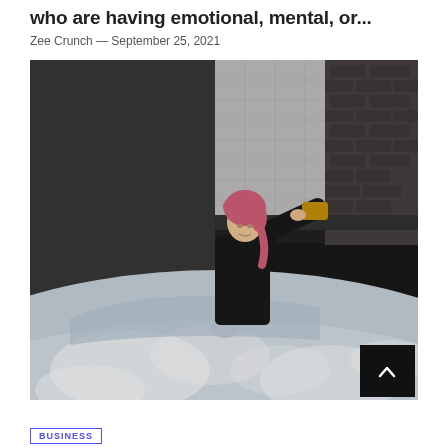who are having emotional, mental, or...
Zee Crunch — September 25, 2021
[Figure (photo): A young woman with pink hair washing a car with a yellow sponge, wearing a black outfit in a dark garage/car wash setting. The car is covered in white foam/soap suds.]
BUSINESS